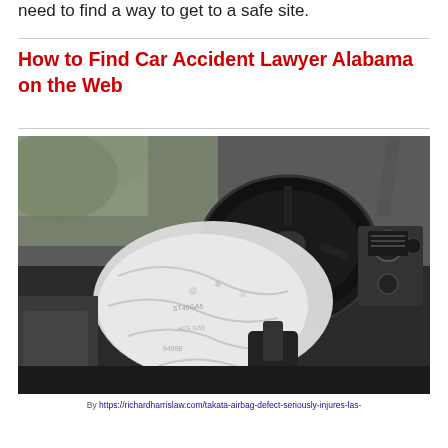need to find a way to get to a safe site.
How to Find Car Accident Lawyer Alabama on the Web
[Figure (photo): Deployed airbag from a steering wheel in a car interior, black and white tones, car dashboard visible in background]
By https://richardharrislaw.com/takata-airbag-defect-seriously-injures-las-